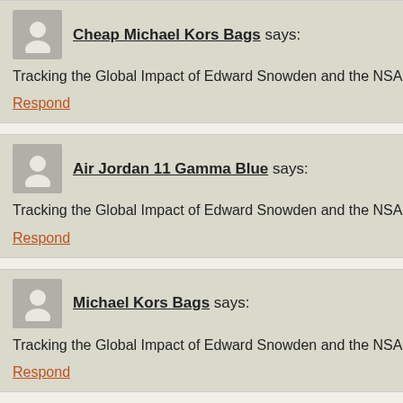Cheap Michael Kors Bags says:
Tracking the Global Impact of Edward Snowden and the NSA Leaks | Da
Respond
Air Jordan 11 Gamma Blue says:
Tracking the Global Impact of Edward Snowden and the NSA Leaks | Da
Respond
Michael Kors Bags says:
Tracking the Global Impact of Edward Snowden and the NSA Leaks | Da
Respond